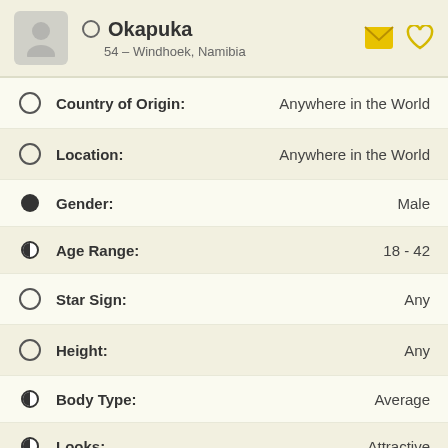Okapuka — 54 – Windhoek, Namibia
Country of Origin: Anywhere in the World
Location: Anywhere in the World
Gender: Male
Age Range: 18 - 42
Star Sign: Any
Height: Any
Body Type: Average
Looks: Attractive